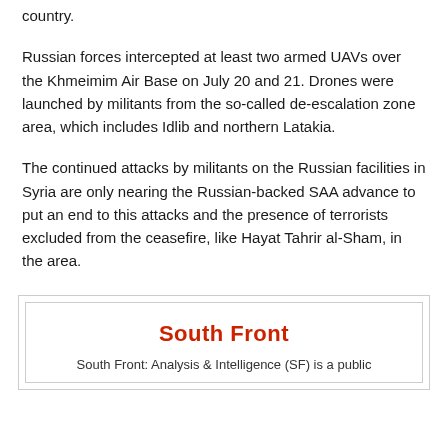country.
Russian forces intercepted at least two armed UAVs over the Khmeimim Air Base on July 20 and 21. Drones were launched by militants from the so-called de-escalation zone area, which includes Idlib and northern Latakia.
The continued attacks by militants on the Russian facilities in Syria are only nearing the Russian-backed SAA advance to put an end to this attacks and the presence of terrorists excluded from the ceasefire, like Hayat Tahrir al-Sham, in the area.
[Figure (logo): South Front logo box with red 'South Front' title and partial text 'South Front: Analysis & Intelligence (SF) is a public']